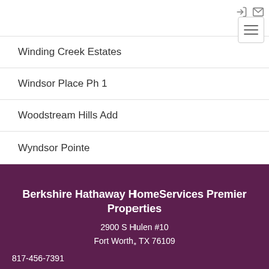navigation icons and hamburger menu
Winding Creek Estates
Windsor Place Ph 1
Woodstream Hills Add
Wyndsor Pointe
Berkshire Hathaway HomeServices Premier Properties
2900 S Hulen #10
Fort Worth, TX 76109
817-456-7391